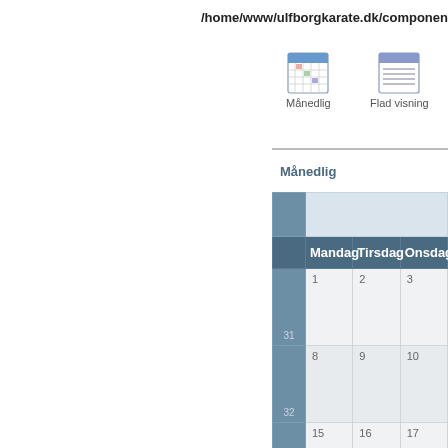/home/www/ulfborgkarate.dk/componen
[Figure (screenshot): Calendar icon (Månedlig - monthly view)]
[Figure (screenshot): List icon (Flad visning - flat view)]
Månedlig
|  | Mandag | Tirsdag | Onsdag |
| --- | --- | --- | --- |
| 31 | 1 | 2 | 3 |
| 32 | 8 | 9 | 10 |
| 33 | 15 | 16 | 17 |
| 34 | 22 | 23 | 24 |
| 35 | 29 | 30 | 31 |